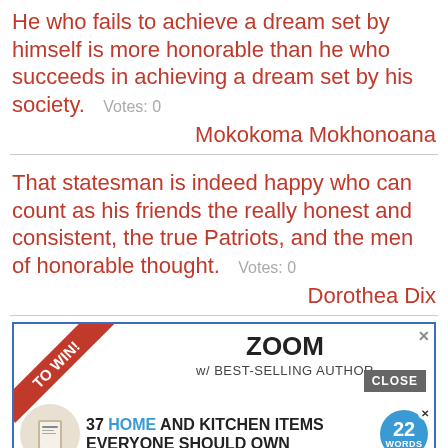He who fails to achieve a dream set by himself is more honorable than he who succeeds in achieving a dream set by his society.   Votes: 0
Mokokoma Mokhonoana
That statesman is indeed happy who can count as his friends the really honest and consistent, the true Patriots, and the men of honorable thought.   Votes: 0
Dorothea Dix
[Figure (screenshot): Advertisement banner: ZOOM w/ BEST-SELLING AUTHOR, 37 HOME AND KITCHEN ITEMS EVERYONE SHOULD OWN, 22 Words badge, red ribbon with 'TO WIN!', Brown Is Beautiful book cover below]